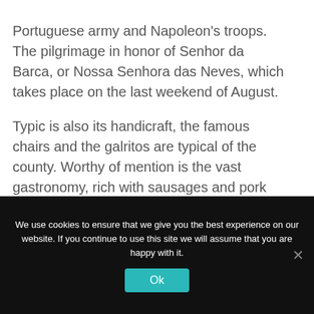Portuguese army and Napoleon's troops. The pilgrimage in honor of Senhor da Barca, or Nossa Senhora das Neves, which takes place on the last weekend of August.
Typic is also its handicraft, the famous chairs and the galritos are typical of the county. Worthy of mention is the vast gastronomy, rich with sausages and pork products, Dom-Abade's roasted goat and ears, and the ginja liqueur, as well as the famous Sierra cheese.
Book Now
We use cookies to ensure that we give you the best experience on our website. If you continue to use this site we will assume that you are happy with it.